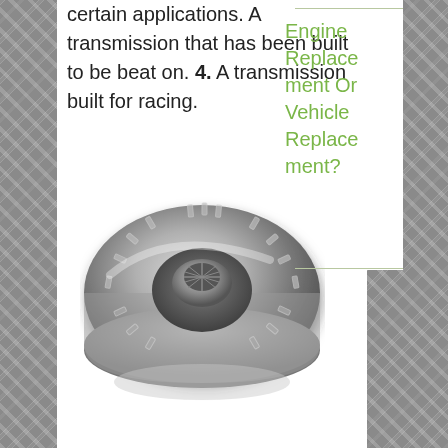certain applications. A transmission that has been built to be beat on. 4. A transmission built for racing.
[Figure (photo): Photograph of a torque converter, a donut-shaped metallic automotive transmission component with a splined center hub and ribbed outer casing.]
Engine Replacement Or Vehicle Replacement?